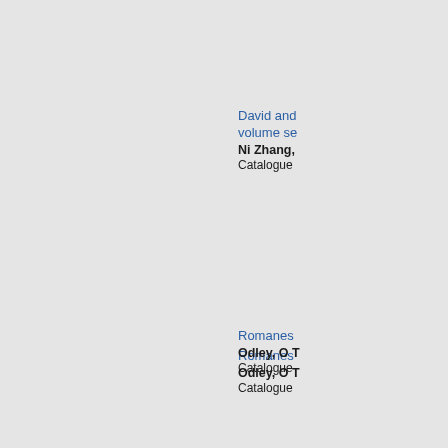David and volume se
Ni Zhang,
Catalogue
Romanes
Odley, O T
Catalogue
Romanes
Odley, O T
Catalogue